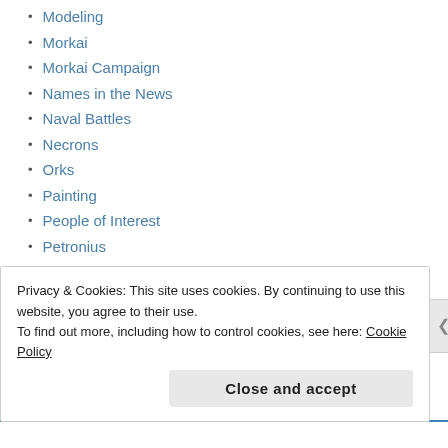Modeling
Morkai
Morkai Campaign
Names in the News
Naval Battles
Necrons
Orks
Painting
People of Interest
Petronius
Review
Rogue Traders
Rules
Rumors
Scarn
Scenarios
Privacy & Cookies: This site uses cookies. By continuing to use this website, you agree to their use.
To find out more, including how to control cookies, see here: Cookie Policy
Close and accept